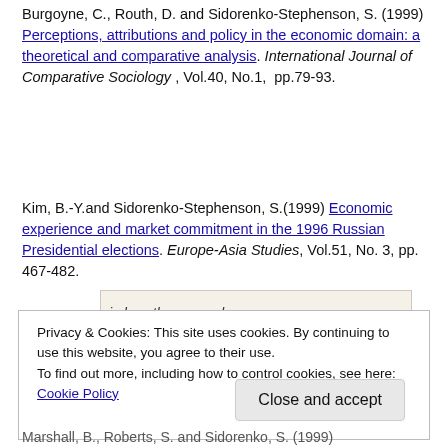Burgoyne, C., Routh, D. and Sidorenko-Stephenson, S. (1999) Perceptions, attributions and policy in the economic domain: a theoretical and comparative analysis. International Journal of Comparative Sociology , Vol.40, No.1,  pp.79-93.
Kim, B.-Y.and Sidorenko-Stephenson, S.(1999) Economic experience and market commitment in the 1996 Russian Presidential elections. Europe-Asia Studies, Vol.51, No. 3, pp. 467-482.
[Figure (other): Partially visible advertisement banner showing text 'in less than a week' with a dash symbol, and a 'REPORT THIS AD' label.]
Privacy & Cookies: This site uses cookies. By continuing to use this website, you agree to their use. To find out more, including how to control cookies, see here: Cookie Policy
Close and accept
Marshall, B., Roberts, S. and Sidorenko, S. (1999